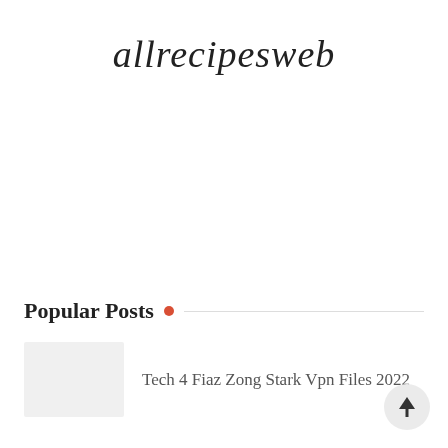allrecipesweb
Popular Posts
Tech 4 Fiaz Zong Stark Vpn Files 2022